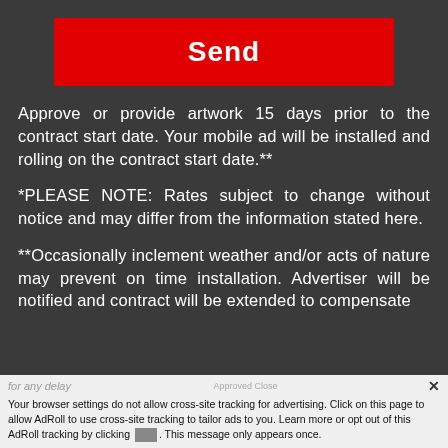[Figure (other): Red 'Send' button]
Approve or provide artwork 15 days prior to the contract start date. Your mobile ad will be installed and rolling on the contract start date.**
*PLEASE NOTE: Rates subject to change without notice and may differ from the information stated here.
**Occasionally inclement weather and/or acts of nature may prevent on time installation. Advertiser will be notified and contract will be extended to compensate
for any delay
Your browser settings do not allow cross-site tracking for advertising. Click on this page to allow AdRoll to use cross-site tracking to tailor ads to you. Learn more or opt out of this AdRoll tracking by clicking . This message only appears once.